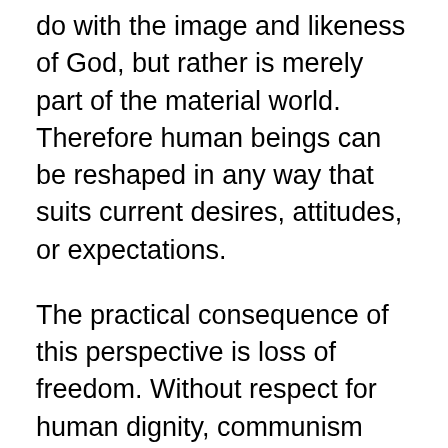do with the image and likeness of God, but rather is merely part of the material world. Therefore human beings can be reshaped in any way that suits current desires, attitudes, or expectations.
The practical consequence of this perspective is loss of freedom. Without respect for human dignity, communism inevitably devolves into total control by a strong elite group. And with the loss of freedom, equality becomes a sham, and justice is impossible.
The state has total power to determine what